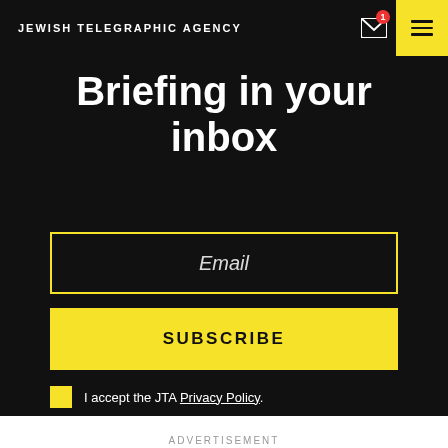JEWISH TELEGRAPHIC AGENCY
Briefing in your inbox
Email
SUBSCRIBE
I accept the JTA Privacy Policy.
By submitting the above I agree to the privacy policy and terms of use of JTA.org
ADVERTISEMENT